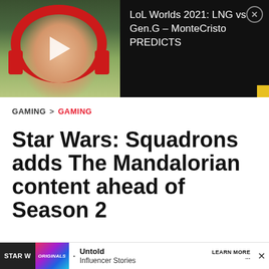[Figure (screenshot): Video thumbnail showing a man wearing red headphones with a play button overlay, paired with text 'LoL Worlds 2021: LNG vs Gen.G – MonteCristo PREDICTS' and a close (X) button on dark background.]
GAMING > GAMING
Star Wars: Squadrons adds The Mandalorian content ahead of Season 2
Tanner Pierce  |  Last updated: Oct 26, 2020
[Figure (screenshot): Bottom advertisement bar showing 'STAR W...' label, Originals logo, dot bullet, 'Untold Influencer Stories', 'LEARN MORE' text, and X close button.]